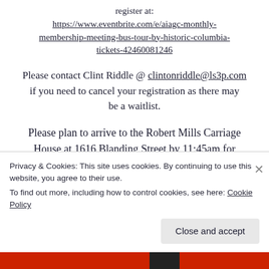register at: https://www.eventbrite.com/e/aiagc-monthly-membership-meeting-bus-tour-by-historic-columbia-tickets-42460081246
Please contact Clint Riddle @ clintonriddle@ls3p.com if you need to cancel your registration as there may be a waitlist.
Please plan to arrive to the Robert Mills Carriage House at 1616 Blanding Street by 11:45am for registration and sign-in.  Parking is available in the
Privacy & Cookies: This site uses cookies. By continuing to use this website, you agree to their use.
To find out more, including how to control cookies, see here: Cookie Policy
Close and accept